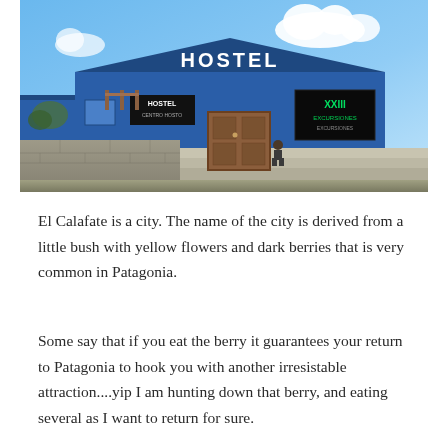[Figure (photo): A blue hostel building with 'HOSTEL' written in large white letters on the roof gable. The building has wooden doors, a small hostel sign, and a green neon-style sign on the right. Stone steps lead up to the entrance. A person is seated on the steps. Blue sky with white clouds in the background.]
El Calafate is a city. The name of the city is derived from a little bush with yellow flowers and dark berries that is very common in Patagonia.
Some say that if you eat the berry it guarantees your return to Patagonia to hook you with another irresistable attraction....yip I am hunting down that berry, and eating several as I want to return for sure.